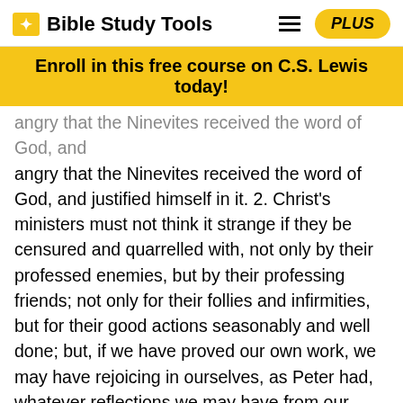Bible Study Tools
Enroll in this free course on C.S. Lewis today!
angry that the Ninevites received the word of God, and justified himself in it. 2. Christ's ministers must not think it strange if they be censured and quarrelled with, not only by their professed enemies, but by their professing friends; not only for their follies and infirmities, but for their good actions seasonably and well done; but, if we have proved our own work, we may have rejoicing in ourselves, as Peter had, whatever reflections we may have from our brethren. Those that are zealous and courageous in the service of Christ must expect to be censured by those who, under pretence of being cautious, are cold and indifferent. Those who are of catholic, generous, charitable principles, must expect to be censured by such as are conceited and strait-laced, who say, Stand by thyself, I am holier than thou